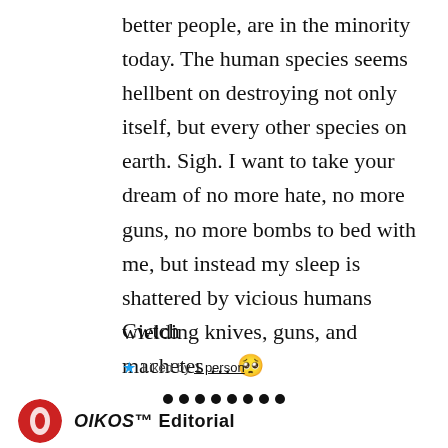better people, are in the minority today. The human species seems hellbent on destroying not only itself, but every other species on earth. Sigh. I want to take your dream of no more hate, no more guns, no more bombs to bed with me, but instead my sleep is shattered by vicious humans wielding knives, guns, and machetes … 😢
Cwtch
Liked by 1 person
[Figure (other): Row of eight small black dots serving as a section separator]
[Figure (logo): OIKOS Editorial logo circle (red and white circular logo)]
OIKOS™ Editorial